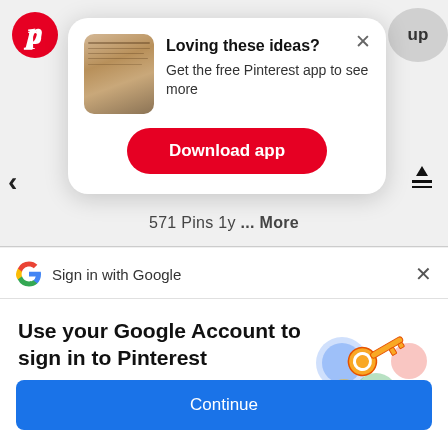[Figure (screenshot): Pinterest app logo - red circle with white P]
up
Loving these ideas?
Get the free Pinterest app to see more
[Figure (photo): Thumbnail image - Pinterest pin preview showing a handwritten note]
Download app
571 Pins 1y ... More
[Figure (logo): Google G logo]
Sign in with Google
Use your Google Account to sign in to Pinterest
No more passwords to remember. Signing in is fast, simple and secure.
[Figure (illustration): Google sign-in illustration showing a golden key with colorful shield icons]
Continue